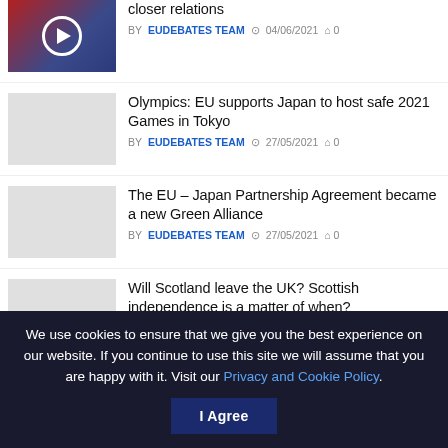closer relations — BY EUDEBATES TEAM 04/06/2021 0
Olympics: EU supports Japan to host safe 2021 Games in Tokyo — BY EUDEBATES TEAM 27/05/2021 0
The EU – Japan Partnership Agreement became a new Green Alliance — BY EUDEBATES TEAM 27/05/2021 0
Will Scotland leave the UK? Scottish independence is a matter of when? — BY EUDEBATES TEAM 26/05/2021 0
Artists deserve Culture Recovery to move forward Culture of Recovery
We use cookies to ensure that we give you the best experience on our website. If you continue to use this site we will assume that you are happy with it. Visit our Privacy and Cookie Policy.